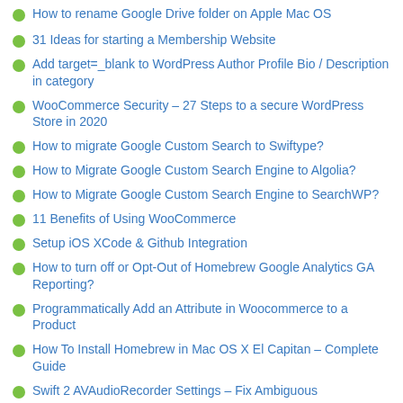How to rename Google Drive folder on Apple Mac OS
31 Ideas for starting a Membership Website
Add target=_blank to WordPress Author Profile Bio / Description in category
WooCommerce Security – 27 Steps to a secure WordPress Store in 2020
How to migrate Google Custom Search to Swiftype?
How to Migrate Google Custom Search Engine to Algolia?
How to Migrate Google Custom Search Engine to SearchWP?
11 Benefits of Using WooCommerce
Setup iOS XCode & Github Integration
How to turn off or Opt-Out of Homebrew Google Analytics GA Reporting?
Programmatically Add an Attribute in Woocommerce to a Product
How To Install Homebrew in Mac OS X El Capitan – Complete Guide
Swift 2 AVAudioRecorder Settings – Fix Ambiguous